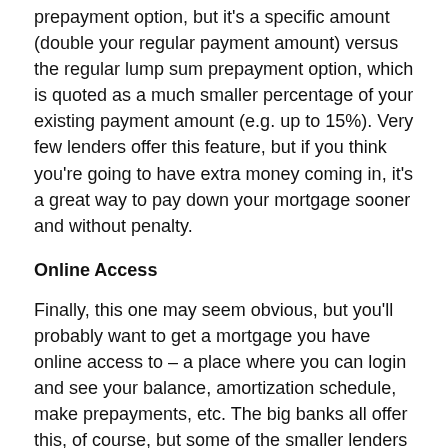prepayment option, but it's a specific amount (double your regular payment amount) versus the regular lump sum prepayment option, which is quoted as a much smaller percentage of your existing payment amount (e.g. up to 15%). Very few lenders offer this feature, but if you think you're going to have extra money coming in, it's a great way to pay down your mortgage sooner and without penalty.
Online Access
Finally, this one may seem obvious, but you'll probably want to get a mortgage you have online access to – a place where you can login and see your balance, amortization schedule, make prepayments, etc. The big banks all offer this, of course, but some of the smaller lenders and wholesale lenders don't. If having this type of access is important to you and how you conduct your daily finances, confirm it's an option with your lender.